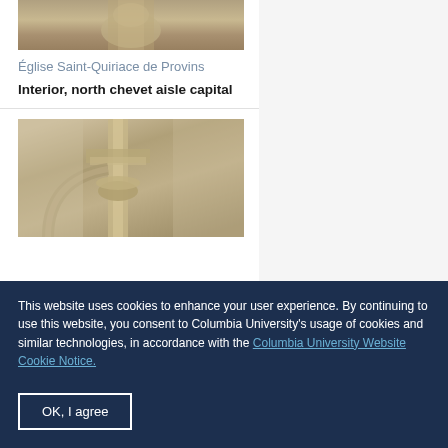[Figure (photo): Stone architectural detail, top portion of a column or capital, close-up view of carved stone]
Église Saint-Quiriace de Provins
Interior, north chevet aisle capital
[Figure (photo): Interior architectural detail showing stone columns and carved capitals with molding details]
This website uses cookies to enhance your user experience. By continuing to use this website, you consent to Columbia University's usage of cookies and similar technologies, in accordance with the Columbia University Website Cookie Notice.
OK, I agree